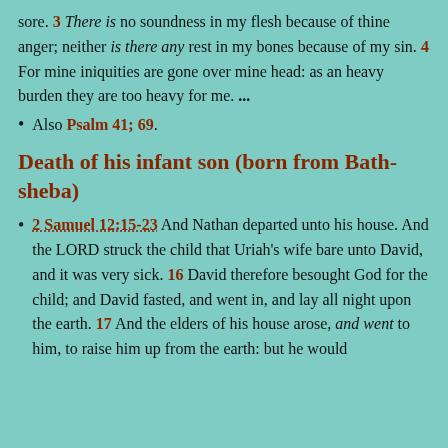sore. 3 There is no soundness in my flesh because of thine anger; neither is there any rest in my bones because of my sin. 4 For mine iniquities are gone over mine head: as an heavy burden they are too heavy for me. ...
Also Psalm 41; 69.
Death of his infant son (born from Bath-sheba)
2 Samuel 12:15-23 And Nathan departed unto his house. And the LORD struck the child that Uriah's wife bare unto David, and it was very sick. 16 David therefore besought God for the child; and David fasted, and went in, and lay all night upon the earth. 17 And the elders of his house arose, and went to him, to raise him up from the earth: but he would